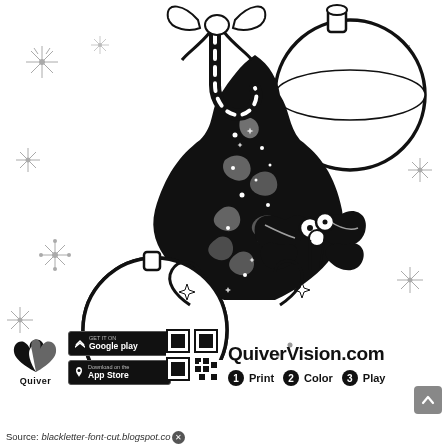[Figure (illustration): Black and white Christmas coloring page featuring a decorative Christmas tree with intricate swirl patterns, ornament balls, candy cane, bow/gift topper, holly leaves with berries, and snowflakes scattered around the background.]
[Figure (logo): Quiver app logo - stylized bird/wing shape in black with text 'Quiver' below]
[Figure (screenshot): Google Play store download button (black background, white text)]
[Figure (screenshot): Apple App Store download button (black background, white text)]
[Figure (other): QR code for QuiverVision app]
QuiverVision.com
1 Print  2 Color  3 Play
Source: blackletter-font-cut.blogspot.co...